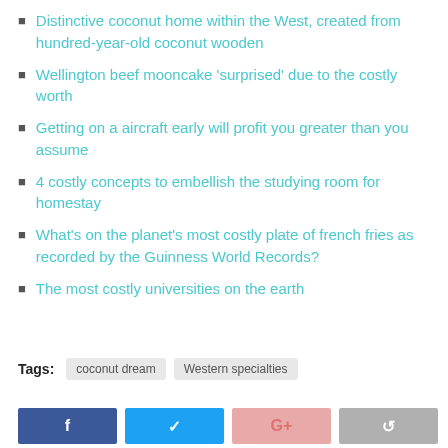Distinctive coconut home within the West, created from hundred-year-old coconut wooden
Wellington beef mooncake 'surprised' due to the costly worth
Getting on a aircraft early will profit you greater than you assume
4 costly concepts to embellish the studying room for homestay
What's on the planet's most costly plate of french fries as recorded by the Guinness World Records?
The most costly universities on the earth
Tags: coconut dream   Western specialties